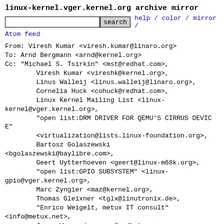linux-kernel.vger.kernel.org archive mirror
search  help / color / mirror / Atom feed
From: Viresh Kumar <viresh.kumar@linaro.org>
To: Arnd Bergmann <arnd@kernel.org>
Cc: "Michael S. Tsirkin" <mst@redhat.com>,
        Viresh Kumar <vireshk@kernel.org>,
        Linus Walleij <linus.walleij@linaro.org>,
        Cornelia Huck <cohuck@redhat.com>,
        Linux Kernel Mailing List <linux-kernel@vger.kernel.org>,
        "open list:DRM DRIVER FOR QEMU'S CIRRUS DEVICE" <virtualization@lists.linux-foundation.org>,
        Bartosz Golaszewski <bgolaszewski@baylibre.com>,
        Geert Uytterhoeven <geert@linux-m68k.org>,
        "open list:GPIO SUBSYSTEM" <linux-gpio@vger.kernel.org>,
        Marc Zyngier <maz@kernel.org>,
        Thomas Gleixner <tglx@linutronix.de>,
        "Enrico Weigelt, metux IT consult" <info@metux.net>,
        Jason Wang <jasowang@redhat.com>,
        Stratos Mailing List <stratos-dev@op-lists.linaro.org>
Subject: Re: [Stratos-dev] [PATCH V4 2/2] gpio: virtio: Add IRQ support
Date: Mon, 9 Aug 2021 16:16:54 +0530    [thread